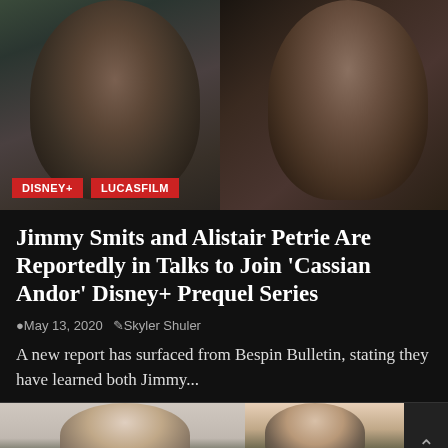[Figure (photo): Two actors in character — left figure appears to be Jimmy Smits in military-style costume, right figure appears to be Alistair Petrie. Both photographed dramatically against dark backgrounds.]
DISNEY+
LUCASFILM
Jimmy Smits and Alistair Petrie Are Reportedly in Talks to Join 'Cassian Andor' Disney+ Prequel Series
May 13, 2020  Skyler Shuler
A new report has surfaced from Bespin Bulletin, stating they have learned both Jimmy...
[Figure (photo): Thumbnail images of two people at the bottom of the page.]
[Figure (photo): Advertisement banner: Just $2 can protect 1 acre of irreplaceable forest homes in the Amazon. How many acres are you willing to protect? PROTECT FORESTS NOW]